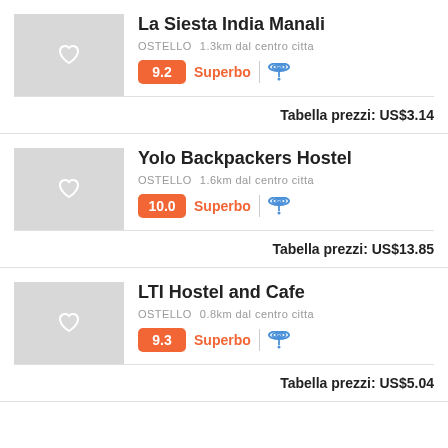La Siesta India Manali
OSTELLO  1.3km dal centro citta
9.2  Superbo
Tabella prezzi:  US$3.14
Yolo Backpackers Hostel
OSTELLO  1.6km dal centro citta
10.0  Superbo
Tabella prezzi:  US$13.85
LTI Hostel and Cafe
OSTELLO  0.8km dal centro citta
9.3  Superbo
Tabella prezzi:  US$5.04